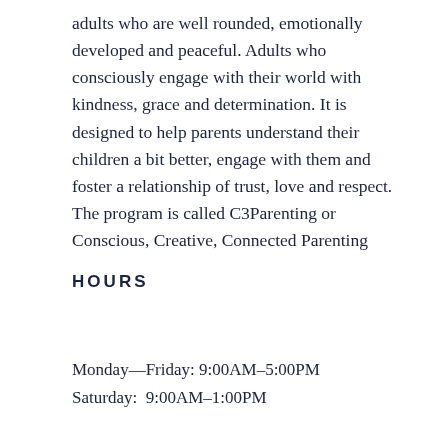adults who are well rounded, emotionally developed and peaceful. Adults who consciously engage with their world with kindness, grace and determination. It is designed to help parents understand their children a bit better, engage with them and foster a relationship of trust, love and respect. The program is called C3Parenting or Conscious, Creative, Connected Parenting
HOURS
Monday—Friday: 9:00AM–5:00PM
Saturday:  9:00AM–1:00PM